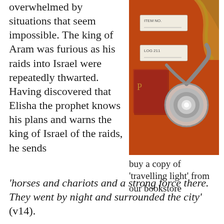overwhelmed by situations that seem impossible. The king of Aram was furious as his raids into Israel were repeatedly thwarted. Having discovered that Elisha the prophet knows his plans and warns the king of Israel of the raids, he sends
[Figure (photo): Overhead view of a red leather book, stethoscope, luggage tags labeled ITEM NO. and LOG 211, passport, and rope on orange/red background]
buy a copy of 'travelling light' from our bookstore
‘horses and chariots and a strong force there. They went by night and surrounded the city’ (v14).